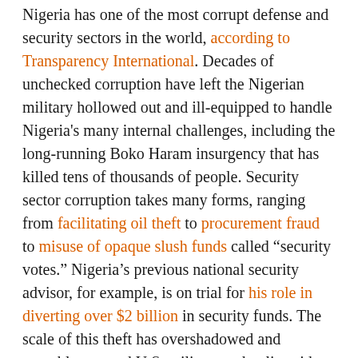Nigeria has one of the most corrupt defense and security sectors in the world, according to Transparency International. Decades of unchecked corruption have left the Nigerian military hollowed out and ill-equipped to handle Nigeria's many internal challenges, including the long-running Boko Haram insurgency that has killed tens of thousands of people. Security sector corruption takes many forms, ranging from facilitating oil theft to procurement fraud to misuse of opaque slush funds called “security votes.” Nigeria’s previous national security advisor, for example, is on trial for his role in diverting over $2 billion in security funds. The scale of this theft has overshadowed and arguably negated U.S. military and police aid to Nigeria, which totaled just $45.4 million from 2010 to 2014.
Corruption also pollutes two areas that will shape Nigeria’s